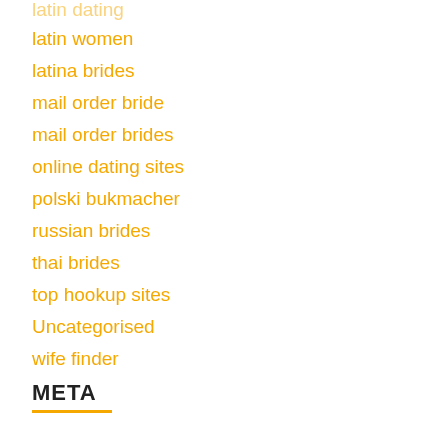latin dating
latin women
latina brides
mail order bride
mail order brides
online dating sites
polski bukmacher
russian brides
thai brides
top hookup sites
Uncategorised
wife finder
META